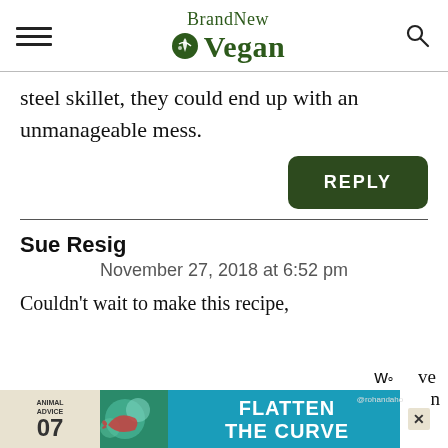BrandNew Vegan
steel skillet, they could end up with an unmanageable mess.
REPLY
Sue Resig
November 27, 2018 at 6:52 pm
Couldn't wait to make this recipe,
[Figure (infographic): Advertisement banner: Animal Advice 07 - Flatten the Curve, with colorful lobster/fish image on teal background]